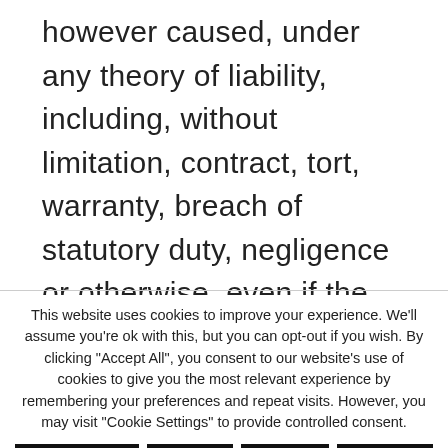however caused, under any theory of liability, including, without limitation, contract, tort, warranty, breach of statutory duty, negligence or otherwise, even if the liable party has been advised as to the possibility of such damages or could have foreseen such damages. To the maximum extent permitted by applicable law, the aggregate liability of the Operator and its
This website uses cookies to improve your experience. We'll assume you're ok with this, but you can opt-out if you wish. By clicking "Accept All", you consent to our website's use of cookies to give you the most relevant experience by remembering your preferences and repeat visits. However, you may visit "Cookie Settings" to provide controlled consent.
Cookie Settings | Reject All | Accept All | Read More